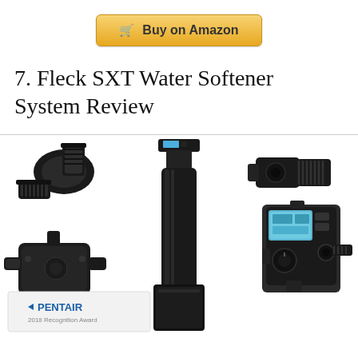[Figure (other): Buy on Amazon button with shopping cart icon, golden/amber gradient background]
7. Fleck SXT Water Softener System Review
[Figure (photo): Fleck SXT Water Softener System product photo collage showing: top-left a black pipe elbow fitting, bottom-left a black multi-port valve body, center a tall black cylindrical resin tank with digital control head on top and a black rectangular salt brine tank at the bottom, top-center-right a black threaded pipe connector, right side a Fleck digital control valve head with blue LCD display, and bottom-left corner a partially visible Pentair recognition award card]